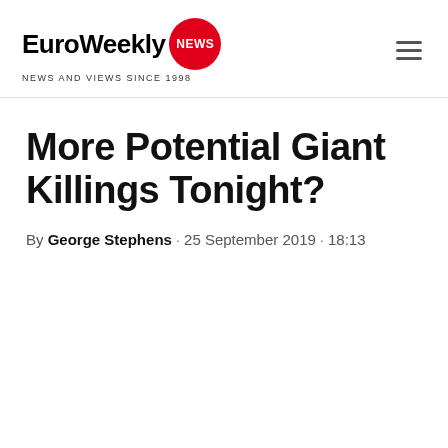EuroWeekly NEWS — NEWS AND VIEWS SINCE 1998
More Potential Giant Killings Tonight?
By George Stephens · 25 September 2019 · 18:13